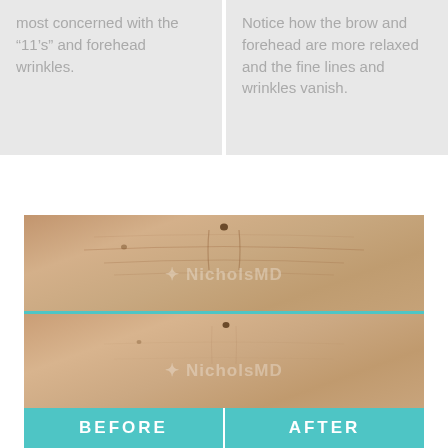most concerned with the “11’s” and forehead wrinkles.
Notice how the brow and forehead are more relaxed and the fine lines and wrinkles vanish.
[Figure (photo): Before and after comparison photo showing a forehead/brow area. Top half shows before treatment with visible fine lines and wrinkles. Bottom half shows after treatment with more relaxed, smoother skin. A teal BEFORE/AFTER label bar is at the bottom. Watermark reads NicholsMD.]